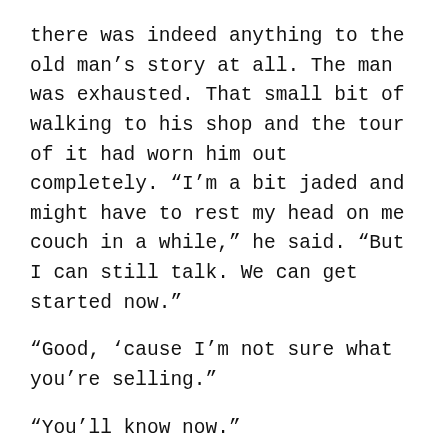there was indeed anything to the old man's story at all. The man was exhausted. That small bit of walking to his shop and the tour of it had worn him out completely. “I’m a bit jaded and might have to rest my head on me couch in a while,” he said. “But I can still talk. We can get started now.”
“Good, ‘cause I’m not sure what you’re selling.”
“You’ll know now.”